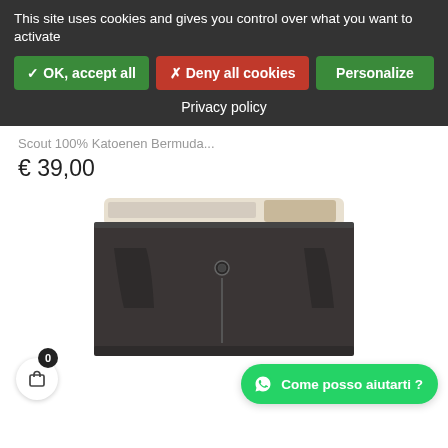This site uses cookies and gives you control over what you want to activate
✓ OK, accept all
✗ Deny all cookies
Personalize
Privacy policy
Scout 100% Katoenen Bermuda...
€ 39,00
[Figure (photo): Dark grey/black bermuda shorts product photo showing the waistband area with button and zipper]
Come posso aiutarti ?